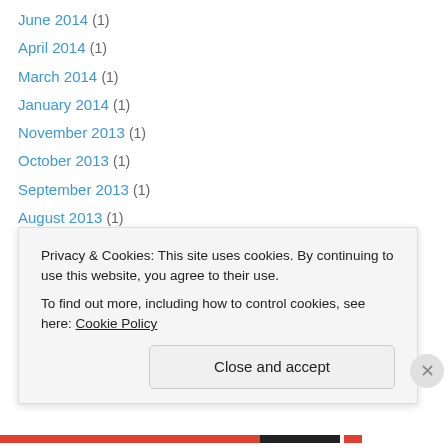June 2014 (1)
April 2014 (1)
March 2014 (1)
January 2014 (1)
November 2013 (1)
October 2013 (1)
September 2013 (1)
August 2013 (1)
July 2013 (1)
June 2013 (2)
May 2013 (2)
February 2013 (2)
December 2012 (1)
November 2012 (1)
Privacy & Cookies: This site uses cookies. By continuing to use this website, you agree to their use.
To find out more, including how to control cookies, see here: Cookie Policy
Close and accept